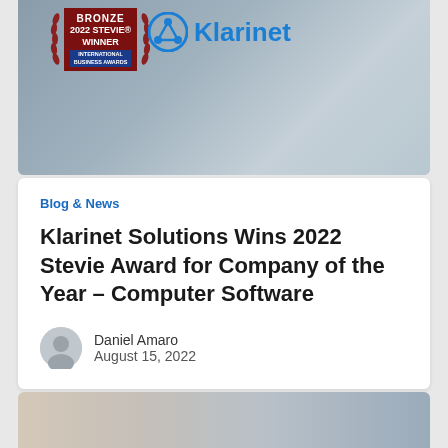[Figure (photo): Hero banner image showing office workers at laptops, with a Bronze 2022 Stevie Winner International Business Awards badge on the left and the Klarinet logo on the right]
Blog & News
Klarinet Solutions Wins 2022 Stevie Award for Company of the Year – Computer Software
Daniel Amaro
August 15, 2022
[Figure (photo): Partial bottom image showing two people working together, cropped at bottom of page]